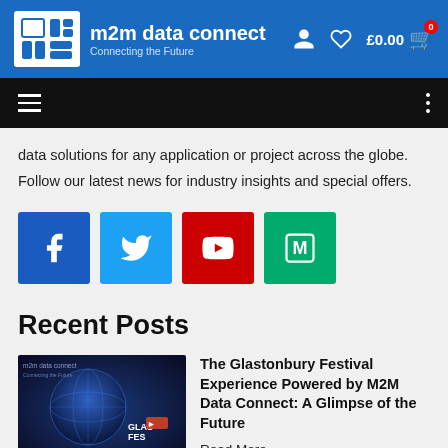m2m data connect — Connecting the Future | £0.00
data solutions for any application or project across the globe. Follow our latest news for industry insights and special offers.
[Figure (other): Social media icon buttons: Facebook (blue), Twitter (light blue), YouTube (red), Medium (green)]
Recent Posts
[Figure (photo): Thumbnail image for Glastonbury Festival post, showing a blue-toned globe/earth with festival branding]
The Glastonbury Festival Experience Powered by M2M Data Connect: A Glimpse of the Future
Read More »